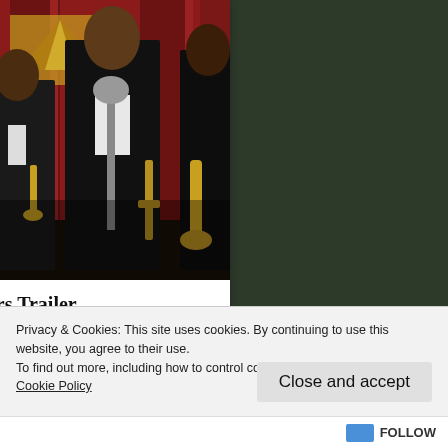[Figure (photo): Four musicians in formal tuxedo attire standing in front of a red curtain backdrop. One holds a trumpet, one a trombone, and one a saxophone. Appears to be a period piece or theatrical setting.]
Timewasters Trailer
The first trailer for ITV2's new time-
Privacy & Cookies: This site uses cookies. By continuing to use this website, you agree to their use.
To find out more, including how to control cookies, see here:
Cookie Policy
Close and accept
Follow